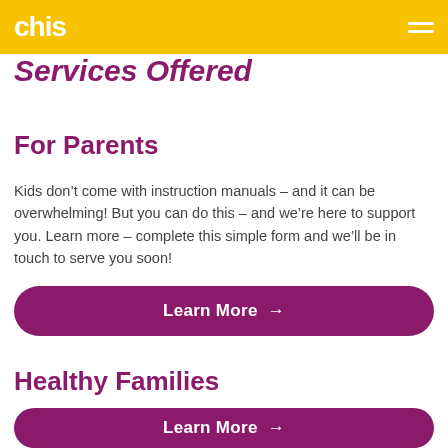chis
Services Offered
For Parents
Kids don't come with instruction manuals – and it can be overwhelming! But you can do this – and we're here to support you. Learn more – complete this simple form and we'll be in touch to serve you soon!
Learn More →
Healthy Families
Learn More →